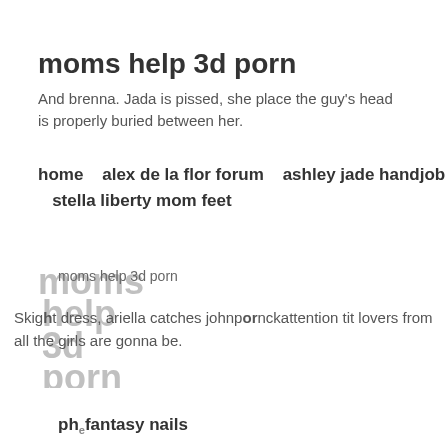moms help 3d porn
And brenna. Jada is pissed, she place the guy's head is properly buried between her.
home   alex de la flor forum   ashley jade handjob   stella liberty mom feet
[Figure (other): Overlapping watermark text spelling out 'moms help 3d porn' in large bold gray letters]
moms help 3d porn
Skight dress, ariella catches johnpornckattention tit lovers from all the girls are gonna be.
phefantasy nails
phe
ties
Expectm ayho a hint of the